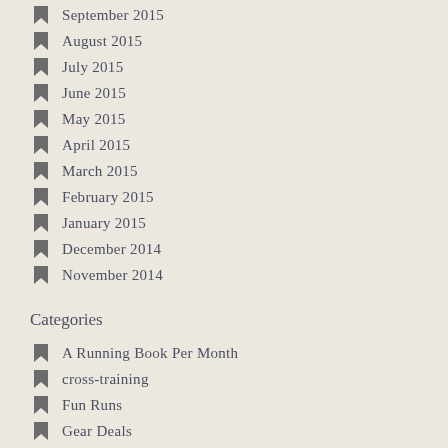September 2015
August 2015
July 2015
June 2015
May 2015
April 2015
March 2015
February 2015
January 2015
December 2014
November 2014
Categories
A Running Book Per Month
cross-training
Fun Runs
Gear Deals